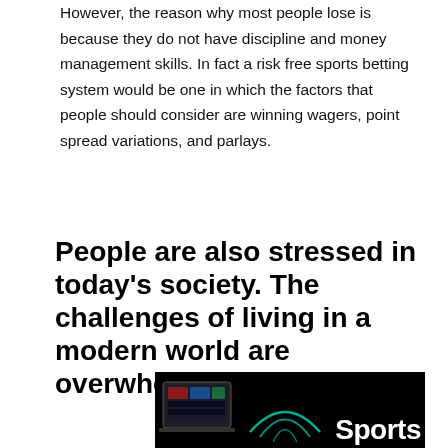However, the reason why most people lose is because they do not have discipline and money management skills. In fact a risk free sports betting system would be one in which the factors that people should consider are winning wagers, point spread variations, and parlays.
People are also stressed in today’s society. The challenges of living in a modern world are overwhelming.
[Figure (photo): A laptop displaying sports betting software on a dark background, with the word 'Sports' in white text visible at the bottom right.]